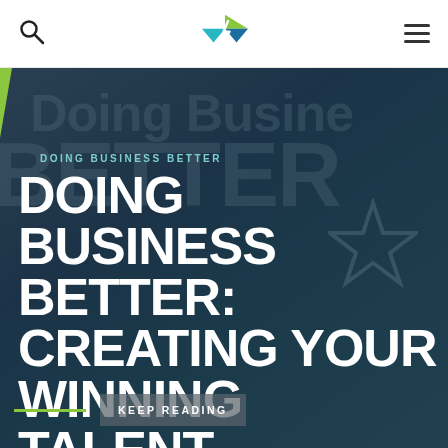DOING BUSINESS BETTER
DOING BUSINESS BETTER: CREATING YOUR WINNING TALENT STRATEGY FOR 2022
KEEP READING